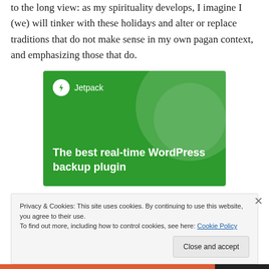to the long view: as my spirituality develops, I imagine I (we) will tinker with these holidays and alter or replace traditions that do not make sense in my own pagan context, and emphasizing those that do.
[Figure (illustration): Jetpack advertisement: green background with circular decorative shapes, Jetpack logo (lightning bolt in circle) and name at top left, bold white text reading 'The best real-time WordPress backup plugin']
Privacy & Cookies: This site uses cookies. By continuing to use this website, you agree to their use.
To find out more, including how to control cookies, see here: Cookie Policy
Close and accept